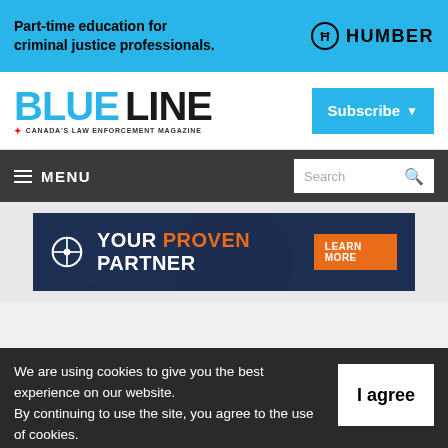[Figure (infographic): Humber College ad banner: 'Part-time education for criminal justice professionals.' with Humber logo on cyan background]
[Figure (logo): Blue Line magazine logo - 'BLUE LINE - Canada's Law Enforcement Magazine' with Subscribe button]
[Figure (screenshot): Navigation bar with MENU hamburger icon and Search box]
[Figure (infographic): Dark navy banner ad: crosshair icon, 'YOUR PROVEN PARTNER' text with LEARN MORE orange button]
We are using cookies to give you the best experience on our website. By continuing to use the site, you agree to the use of cookies. To find out more, read our privacy policy.